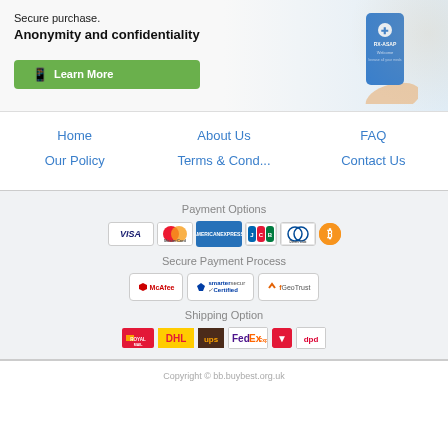[Figure (infographic): Promotional banner: 'Secure purchase. Anonymity and confidentiality' with a green Learn More button and a phone image showing the RX-ASAP app, with a coffee cup in background.]
Home
About Us
FAQ
Our Policy
Terms & Cond...
Contact Us
Payment Options
[Figure (infographic): Payment method logos: VISA, MasterCard, American Express, JCB, Diners Club, Bitcoin]
Secure Payment Process
[Figure (infographic): Security badges: McAfee, smartersecurity Certified, GeoTrust]
Shipping Option
[Figure (infographic): Shipping logos: Royal Mail, DHL, UPS, FedEx, 7, dpd]
Copyright © bb.buybest.org.uk